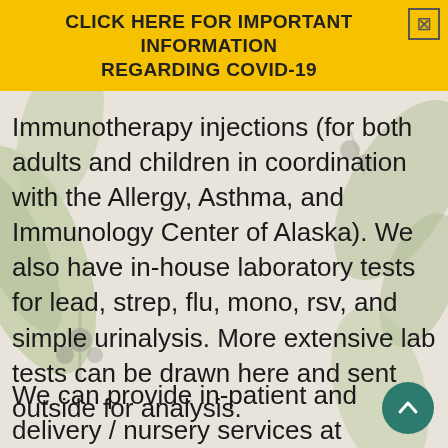CLICK HERE FOR IMPORTANT INFORMATION REGARDING COVID-19
Immunotherapy injections (for both adults and children in coordination with the Allergy, Asthma, and Immunology Center of Alaska). We also have in-house laboratory tests for lead, strep, flu, mono, rsv, and simple urinalysis. More extensive lab tests can be drawn here and sent outside for analysis.
We can provide in-patient and delivery / nursery services at Mat-Su Regional Medical